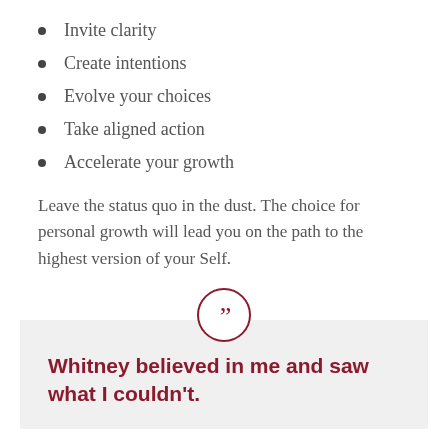Invite clarity
Create intentions
Evolve your choices
Take aligned action
Accelerate your growth
Leave the status quo in the dust. The choice for personal growth will lead you on the path to the highest version of your Self.
Whitney believed in me and saw what I couldn't.